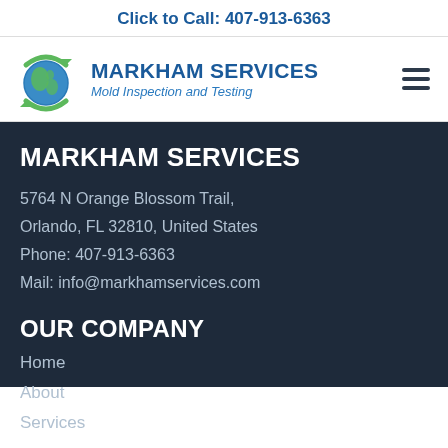Click to Call: 407-913-6363
[Figure (logo): Markham Services logo with globe and green arrows, company name and tagline]
MARKHAM SERVICES
5764 N Orange Blossom Trail, Orlando, FL 32810, United States
Phone: 407-913-6363
Mail: info@markhamservices.com
OUR COMPANY
Home
About
Services